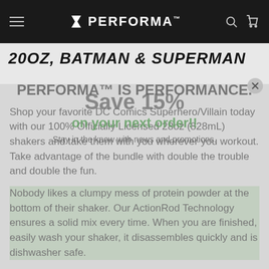PERFORMA™
20OZ, BATMAN & SUPERMAN
PERFORMA™ IS PERFORMANCE.
Save 15%
on your next order!!
Stay in the know with news and promotions.
Shop your favorite DC Comics Superhero/Villain today with our 100% Officially Licensed 28oz (828mL) shakers and take them with you wherever you workout. Take advantage of the bundle with double the trouble and double the fun.
Nobody likes a clumpy mess of protein powder at the bottom of their shaker. Our ActionRod Technology ensures a solid mix every time. When you are finished, easily wash your shaker, it disassembles quickly and is dishwasher safe.